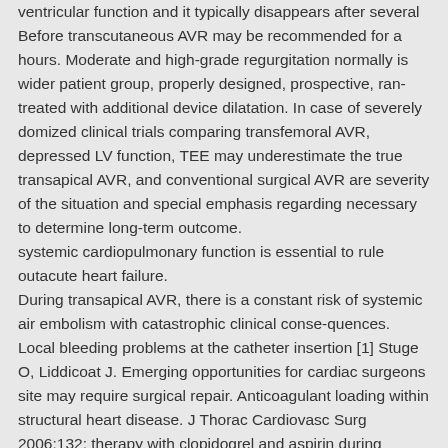ventricular function and it typically disappears after several Before transcutaneous AVR may be recommended for a hours. Moderate and high-grade regurgitation normally is wider patient group, properly designed, prospective, ran- treated with additional device dilatation. In case of severely domized clinical trials comparing transfemoral AVR, depressed LV function, TEE may underestimate the true transapical AVR, and conventional surgical AVR are severity of the situation and special emphasis regarding necessary to determine long-term outcome.
systemic cardiopulmonary function is essential to rule outacute heart failure.
During transapical AVR, there is a constant risk of systemic air embolism with catastrophic clinical conse-quences. Local bleeding problems at the catheter insertion [1] Stuge O, Liddicoat J. Emerging opportunities for cardiac surgeons site may require surgical repair. Anticoagulant loading within structural heart disease. J Thorac Cardiovasc Surg 2006;132: therapy with clopidogrel and aspirin during transfemoral H. Heinze et al.